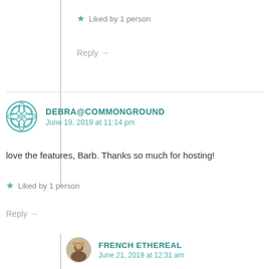★ Liked by 1 person
Reply →
DEBRA@COMMONGROUND
June 19, 2019 at 11:14 pm
love the features, Barb. Thanks so much for hosting!
★ Liked by 1 person
Reply →
FRENCH ETHEREAL
June 21, 2019 at 12:31 am